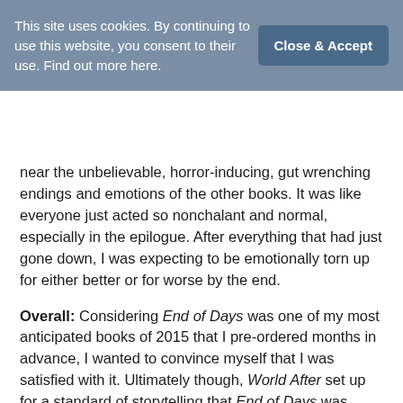This site uses cookies. By continuing to use this website, you consent to their use. Find out more here.
Close & Accept
near the unbelievable, horror-inducing, gut wrenching endings and emotions of the other books. It was like everyone just acted so nonchalant and normal, especially in the epilogue. After everything that had just gone down, I was expecting to be emotionally torn up for either better or for worse by the end.
Overall: Considering End of Days was one of my most anticipated books of 2015 that I pre-ordered months in advance, I wanted to convince myself that I was satisfied with it. Ultimately though, World After set up for a standard of storytelling that End of Days was unable to deliver, despite enjoyable individual moments within the narrative. The writing in End of Days is great, as always, the cover is beautiful, and it stayed true to its snark and crazy secondary characters that are oddly endearing. Yet it seemed to be missing the edge that set it apart from other YA paranormal romances/dystopians: the edge of horror, of desperation, of tension and of heartbreak. While I'm glad I read it, it fell short of the epic expectations the first two books in the series set up, and I just didn't feel it tug at my emotions the way